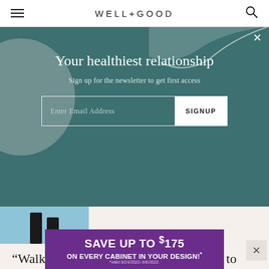WELL+GOOD
Your healthiest relationship
Sign up for the newsletter to get first access
Enter Email Address
SIGNUP
[Figure (photo): Partial view of a person walking, cropped at bottom of modal overlay, showing legs against a blue/grey background]
“Walking backwards is also a great way to improve your balance and mobility,” she explains. “You are moving your body in a way you normally don’t, so it can help work different muscles and help increase
[Figure (infographic): Purple advertisement banner: SAVE UP TO $175 ON EVERY CABINET IN YOUR DESIGN! *Valid 8/24/2022-9/6/2022.]